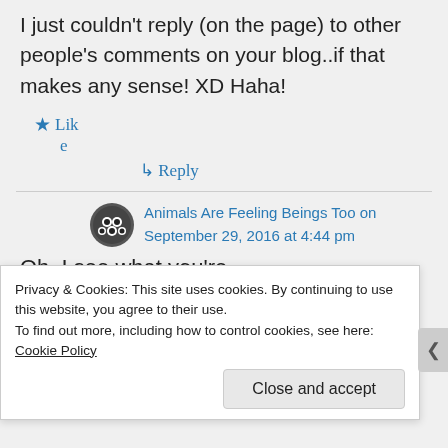I just couldn't reply (on the page) to other people's comments on your blog..if that makes any sense! XD Haha!
★ Lik
e
↳ Reply
Animals Are Feeling Beings Too on September 29, 2016 at 4:44 pm
Oh, I see what you're
Privacy & Cookies: This site uses cookies. By continuing to use this website, you agree to their use.
To find out more, including how to control cookies, see here: Cookie Policy
Close and accept